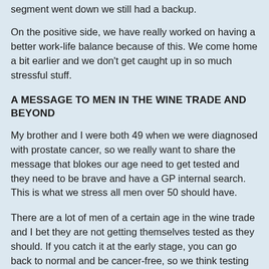segment went down we still had a backup.
On the positive side, we have really worked on having a better work-life balance because of this. We come home a bit earlier and we don't get caught up in so much stressful stuff.
A MESSAGE TO MEN IN THE WINE TRADE AND BEYOND
My brother and I were both 49 when we were diagnosed with prostate cancer, so we really want to share the message that blokes our age need to get tested and they need to be brave and have a GP internal search. This is what we stress all men over 50 should have.
There are a lot of men of a certain age in the wine trade and I bet they are not getting themselves tested as they should. If you catch it at the early stage, you can go back to normal and be cancer-free, so we think testing is really important. We would like it to be treated like